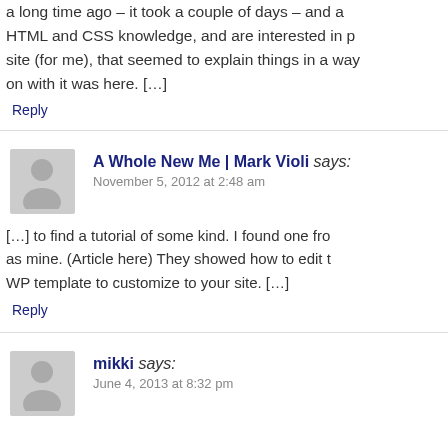a long time ago – it took a couple of days – and a HTML and CSS knowledge, and are interested in p site (for me), that seemed to explain things in a way on with it was here. […]
Reply
A Whole New Me | Mark Violi says:
November 5, 2012 at 2:48 am
[…] to find a tutorial of some kind. I found one fro as mine. (Article here) They showed how to edit t WP template to customize to your site. […]
Reply
mikki says:
June 4, 2013 at 8:32 pm